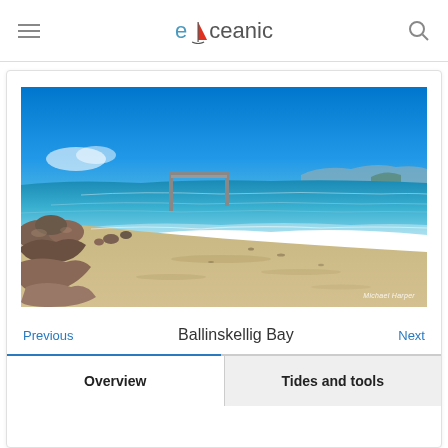eOceanic
[Figure (photo): Panoramic photo of Ballinskellig Bay, Ireland. Sandy beach with large rocks on the left foreground, a stone pier/harbour wall in the middle distance, clear blue-green calm water, and mountains visible across the bay under a vivid blue sky. Photo credit: Michael Harper.]
Ballinskellig Bay
Overview
Tides and tools